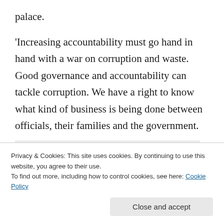palace.
'Increasing accountability must go hand in hand with a war on corruption and waste. Good governance and accountability can tackle corruption. We have a right to know what kind of business is being done between officials, their families and the government.
[Figure (screenshot): Advertisement banner with bold text 'the same page is easy. And free.' on a light grey background, with circular profile photo thumbnails below including a blue circle with an information icon.]
Privacy & Cookies: This site uses cookies. By continuing to use this website, you agree to their use.
To find out more, including how to control cookies, see here: Cookie Policy